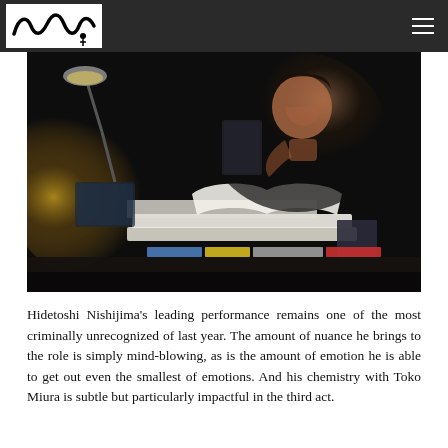Logo and navigation header
[Figure (photo): A man sitting at a dark desk with an open book and stacked textbooks, illuminated by a desk lamp, looking thoughtfully to the side — still from a film.]
Hidetoshi Nishijima's leading performance remains one of the most criminally unrecognized of last year. The amount of nuance he brings to the role is simply mind-blowing, as is the amount of emotion he is able to get out even the smallest of emotions. And his chemistry with Toko Miura is subtle but particularly impactful in the third act.